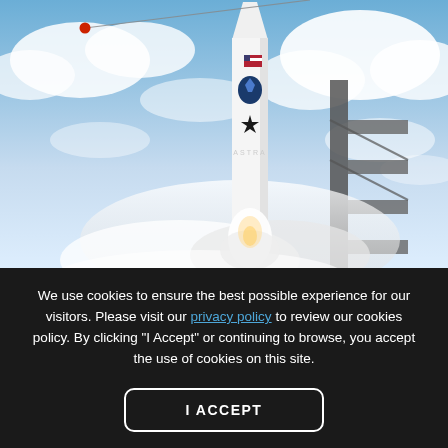[Figure (photo): A rocket on a launch pad lifting off with exhaust smoke/steam billowing at the base. The rocket is white with a black star logo and an American flag visible near the top. A diagonal wire with a red ball at the top left extends across the image. The background shows a partly cloudy blue sky.]
We use cookies to ensure the best possible experience for our visitors. Please visit our privacy policy to review our cookies policy. By clicking "I Accept" or continuing to browse, you accept the use of cookies on this site.
I ACCEPT